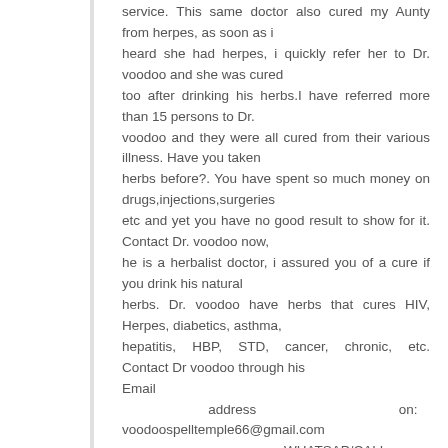service. This same doctor also cured my Aunty from herpes, as soon as i heard she had herpes, i quickly refer her to Dr. voodoo and she was cured too after drinking his herbs.I have referred more than 15 persons to Dr. voodoo and they were all cured from their various illness. Have you taken herbs before?. You have spent so much money on drugs,injections,surgeries etc and yet you have no good result to show for it. Contact Dr. voodoo now, he is a herbalist doctor, i assured you of a cure if you drink his natural herbs. Dr. voodoo have herbs that cures HIV, Herpes, diabetics, asthma, hepatitis, HBP, STD, cancer, chronic, etc. Contact Dr voodoo through his Email address on: voodoospelltemple66@gmail.com or WHATSAP/CALL him on +2348140120719 Please share the good news to other people once you are cured